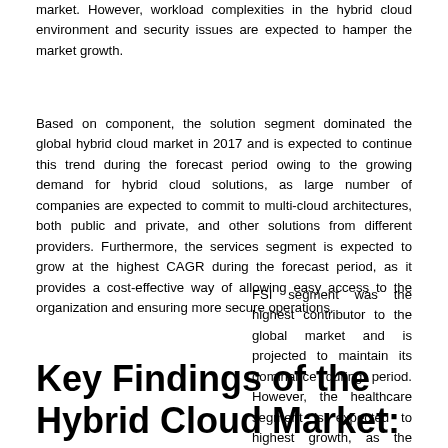market. However, workload complexities in the hybrid cloud environment and security issues are expected to hamper the market growth.
Based on component, the solution segment dominated the global hybrid cloud market in 2017 and is expected to continue this trend during the forecast period owing to the growing demand for hybrid cloud solutions, as large number of companies are expected to commit to multi-cloud architectures, both public and private, and other solutions from different providers. Furthermore, the services segment is expected to grow at the highest CAGR during the forecast period, as it provides a cost-effective way of allowing easy access to the organization and ensuring more secure operations.
FSI segment was the highest contributor to the global market and is projected to maintain its dominance during period. However, the healthcare segment is expected to highest growth, as the adoption of hybrid cloud has ntial for healthcare organizations due to concerns urity, cost, and complexity.
Key Findings of the Hybrid Cloud Market: